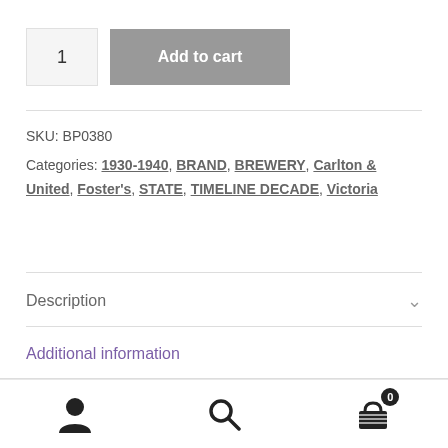1
Add to cart
SKU: BP0380
Categories: 1930-1940, BRAND, BREWERY, Carlton & United, Foster's, STATE, TIMELINE DECADE, Victoria
Description
Additional information
[Figure (infographic): Bottom navigation bar with user icon, search icon, and cart icon with badge showing 0]